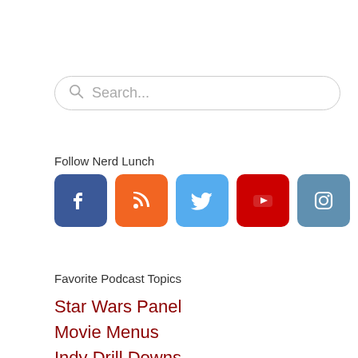Search...
Follow Nerd Lunch
[Figure (infographic): Social media icons: Facebook (blue), RSS (orange), Twitter (light blue), YouTube (red), Instagram (steel blue), Pinterest (dark red), Tumblr (dark navy)]
Favorite Podcast Topics
Star Wars Panel
Movie Menus
Indy Drill Downs
Star Trek Discussions